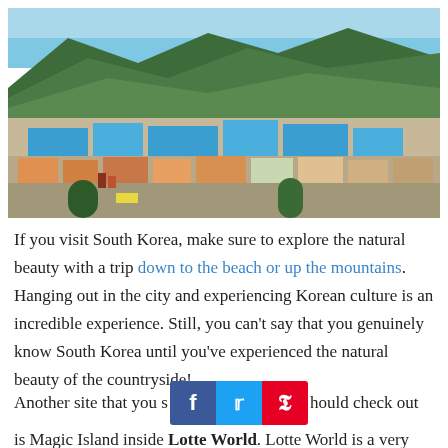[Figure (photo): Aerial view of a colorful hillside town in South Korea (Gamcheon Culture Village, Busan) with densely packed blue, green, orange, pink and white buildings cascading down a hillside with green mountains in the background and blue sky.]
If you visit South Korea, make sure to explore the natural beauty with a trip down to the beach or up the mountains. Hanging out in the city and experiencing Korean culture is an incredible experience. Still, you can't say that you genuinely know South Korea until you've experienced the natural beauty of the countryside!
Another site that you should check out is Magic Island inside Lotte World. Lotte World is a very famous